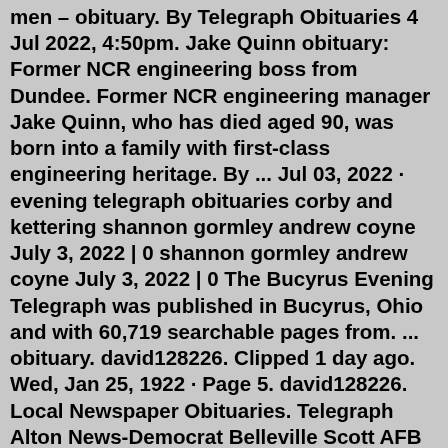men – obituary. By Telegraph Obituaries 4 Jul 2022, 4:50pm. Jake Quinn obituary: Former NCR engineering boss from Dundee. Former NCR engineering manager Jake Quinn, who has died aged 90, was born into a family with first-class engineering heritage. By ... Jul 03, 2022 · evening telegraph obituaries corby and kettering shannon gormley andrew coyne July 3, 2022 | 0 shannon gormley andrew coyne July 3, 2022 | 0 The Bucyrus Evening Telegraph was published in Bucyrus, Ohio and with 60,719 searchable pages from. ... obituary. david128226. Clipped 1 day ago. Wed, Jan 25, 1922 · Page 5. david128226. Local Newspaper Obituaries. Telegraph Alton News-Democrat Belleville Scott AFB Flyer Belleville Macoupin County Enquirer-Democrat Carlinville Carlyle Daily Carlyle Edwardsville Intelligencer Edwardsville Newsmagazine Network Ellisville Elsberry Democrat Elsberry Fairview Heights Tribune Fairview Heights Greenville Daily Post Greenville Journal-News Hillsboro Mascoutah Herald Mascoutah Chinese ... Obituary. Bucyrus -